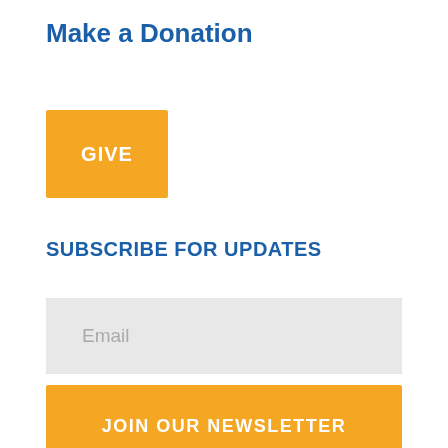Make a Donation
[Figure (other): Orange GIVE button]
SUBSCRIBE FOR UPDATES
[Figure (other): Email input field with placeholder text 'Email']
[Figure (other): Orange JOIN OUR NEWSLETTER button]